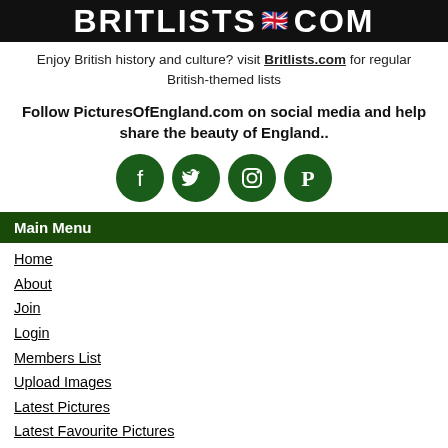[Figure (logo): Britlists.com logo banner with white bold text on black background with UK flag emoji]
Enjoy British history and culture? visit Britlists.com for regular British-themed lists
Follow PicturesOfEngland.com on social media and help share the beauty of England..
[Figure (illustration): Four dark green circular social media icons: Facebook, Twitter, Instagram, Pinterest]
Main Menu
Home
About
Join
Login
Members List
Upload Images
Latest Pictures
Latest Favourite Pictures
Contact
Donate
Explore England
England Counties
Historic Market Towns
Picturesque Villages